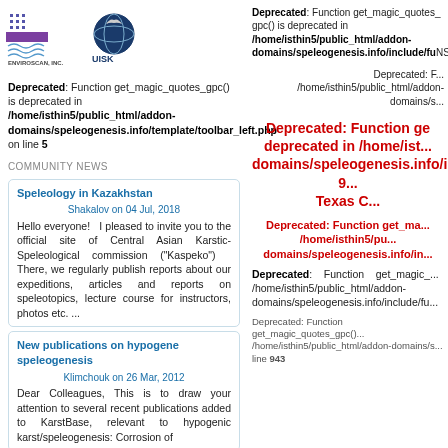[Figure (logo): Enviroscan Inc. logo with wavy lines and UISK logo with globe/satellite icon]
Deprecated: Function get_magic_quotes_gpc() is deprecated in /home/isthin5/public_html/addon-domains/speleogenesis.info/template/toolbar_left.php on line 5
COMMUNITY NEWS
Speleology in Kazakhstan
Shakalov on 04 Jul, 2018
Hello everyone! I pleased to invite you to the official site of Central Asian Karstic-Speleological commission ("Kaspeko") There, we regularly publish reports about our expeditions, articles and reports on speleotopics, lecture course for instructors, photos etc. ...
New publications on hypogene speleogenesis
Klimchouk on 26 Mar, 2012
Dear Colleagues, This is to draw your attention to several recent publications added to KarstBase, relevant to hypogenic karst/speleogenesis: Corrosion of
Deprecated: Function get_magic_quotes_gpc() is deprecated in /home/isthin5/public_html/addon-domains/speleogenesis.info/include/fu NSS
Deprecated: F... /home/isthin5/public_html/addon-domains/s...
Deprecated: Function ge... deprecated in /home/ist... domains/speleogenesis.info/i... 9... Texas C...
Deprecated: Function get_ma... /home/isthin5/pu... domains/speleogenesis.info/in...
Deprecated: Function get_magic_... /home/isthin5/public_html/addon-domains/speleogenesis.info/include/fu...
Deprecated: Function get_magic_quotes_gpc() /home/isthin5/public_html/addon-domains/s... line 943